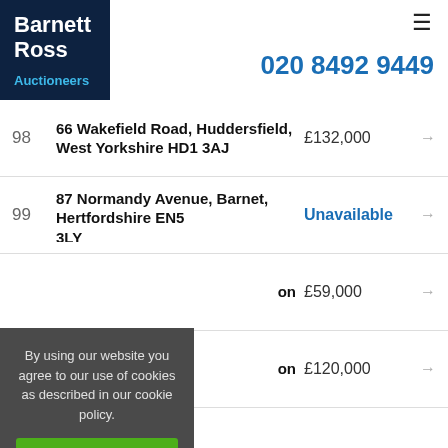Barnett Ross Auctioneers | 020 8492 9449
98 | 66 Wakefield Road, Huddersfield, West Yorkshire HD1 3AJ | £132,000
99 | 87 Normandy Avenue, Barnet, Hertfordshire EN5 | Unavailable
| [partial] on | £59,000
| [partial] on | £120,000
By using our website you agree to our use of cookies as described in our cookie policy.
I Agree
Learn More